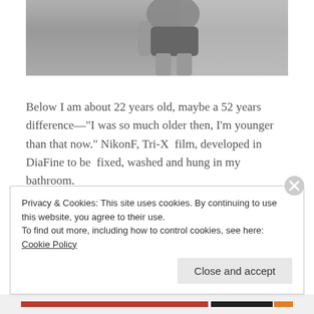[Figure (photo): A black and white photograph showing a person from the waist down wearing underwear/shorts, standing in what appears to be a room. The image is cropped at the top.]
Below I am about 22 years old, maybe a 52 years difference—"I was so much older then, I'm younger than that now." NikonF, Tri-X film, developed in DiaFine to be fixed, washed and hung in my bathroom.
Privacy & Cookies: This site uses cookies. By continuing to use this website, you agree to their use.
To find out more, including how to control cookies, see here: Cookie Policy
Close and accept